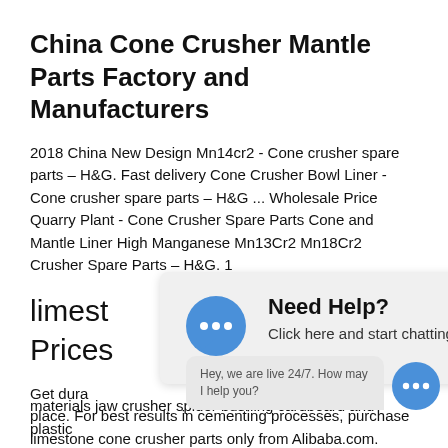China Cone Crusher Mantle Parts Factory and Manufacturers
2018 China New Design Mn14cr2 - Cone crusher spare parts – H&G. Fast delivery Cone Crusher Bowl Liner - Cone crusher spare parts – H&G ... Wholesale Price Quarry Plant - Cone Crusher Spare Parts Cone and Mantle Liner High Manganese Mn13Cr2 Mn18Cr2 Crusher Spare Parts – H&G. 1
limestone cone crusher parts at Best Prices
[Figure (screenshot): Chat popup overlay with blue speech bubble icon and text 'Need Help? Click here and start chatting with us!']
Get durable limestone cone crusher parts in one place. For best results in cementing processes, purchase limestone cone crusher parts only from Alibaba.com.
[Figure (screenshot): Bottom right chat widget with message bubble 'Hey, we are live 24/7. How may I help you?' and blue chat circle icon with three dots]
materials jaw crusher spider bushing cardboard and plastic